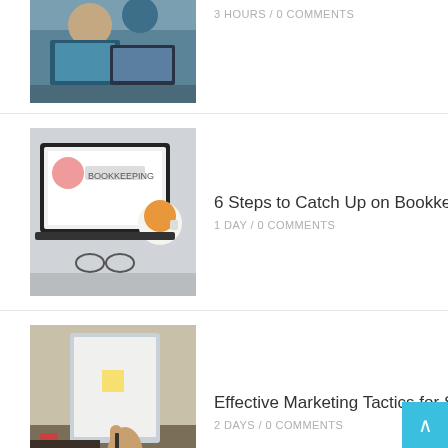[Figure (photo): Two people working on laptops in an office setting]
Six Office Remodels That Will Help
3 HOURS /  0 COMMENTS
[Figure (photo): Laptop showing bookkeeping screen with a cup of tea and glasses on a desk]
6 Steps to Catch Up on Bookkeep
1 DAY /  0 COMMENTS
[Figure (photo): Person writing on a whiteboard in an office]
Effective Marketing Tactics for Star
2 DAYS /  0 COMMENTS